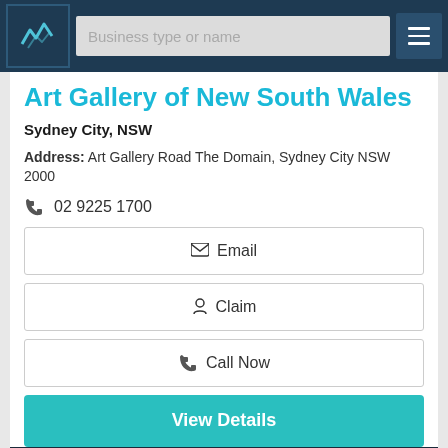[Figure (screenshot): Website navigation bar with logo, search box labeled 'Business type or name', and hamburger menu icon on dark blue background]
Art Gallery of New South Wales
Sydney City, NSW
Address: Art Gallery Road The Domain, Sydney City NSW 2000
02 9225 1700
Email
Claim
Call Now
View Details
[Figure (screenshot): Dark blue preview panel at bottom of page]